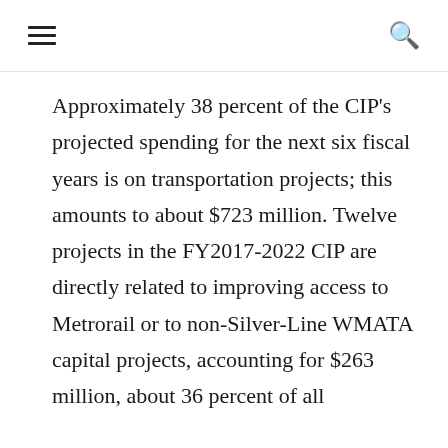≡  🔍
Approximately 38 percent of the CIP's projected spending for the next six fiscal years is on transportation projects; this amounts to about $723 million. Twelve projects in the FY2017-2022 CIP are directly related to improving access to Metrorail or to non-Silver-Line WMATA capital projects, accounting for $263 million, about 36 percent of all transportation spending. The